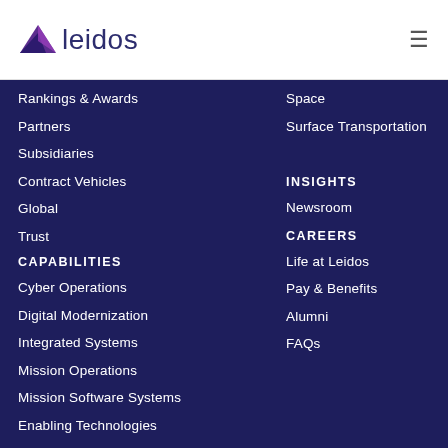[Figure (logo): Leidos logo with purple arrow/triangle icon and 'leidos' wordmark in dark navy]
Rankings & Awards
Partners
Subsidiaries
Contract Vehicles
Global
Trust
CAPABILITIES
Cyber Operations
Digital Modernization
Integrated Systems
Mission Operations
Mission Software Systems
Enabling Technologies
Technology Certifications
Space
Surface Transportation
INSIGHTS
Newsroom
CAREERS
Life at Leidos
Pay & Benefits
Alumni
FAQs